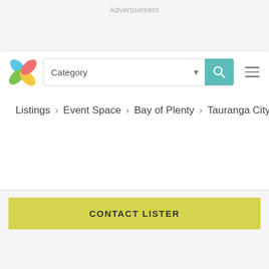Advertisement
[Figure (logo): Colorful pinwheel/star logo with four petals in blue, green, yellow/orange, and pink/red]
Category ▾ [search box with teal search button] ≡
Listings > Event Space > Bay of Plenty > Tauranga City
CONTACT LISTER